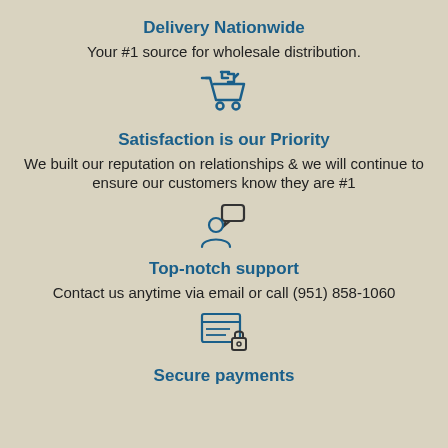Delivery Nationwide
Your #1 source for wholesale distribution.
[Figure (illustration): Shopping cart with return/undo arrow icon in blue outline style]
Satisfaction is our Priority
We built our reputation on relationships & we will continue to ensure our customers know they are #1
[Figure (illustration): Person with speech bubble icon in blue outline style]
Top-notch support
Contact us anytime via email or call (951) 858-1060
[Figure (illustration): Secure payment / credit card with lock icon in blue outline style]
Secure payments